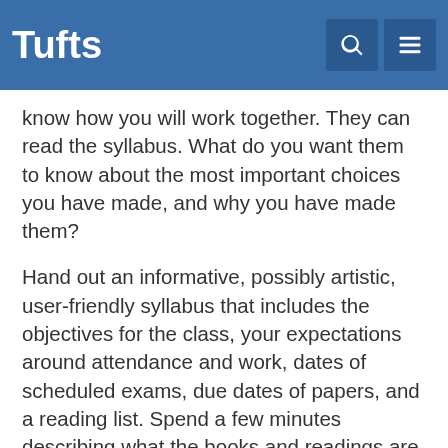Tufts
know how you will work together. They can read the syllabus. What do you want them to know about the most important choices you have made, and why you have made them?
Hand out an informative, possibly artistic, user-friendly syllabus that includes the objectives for the class, your expectations around attendance and work, dates of scheduled exams, due dates of papers, and a reading list. Spend a few minutes describing what the books and readings are about and how they relate to the theme of the course.
Convey your expectations regarding appropriate